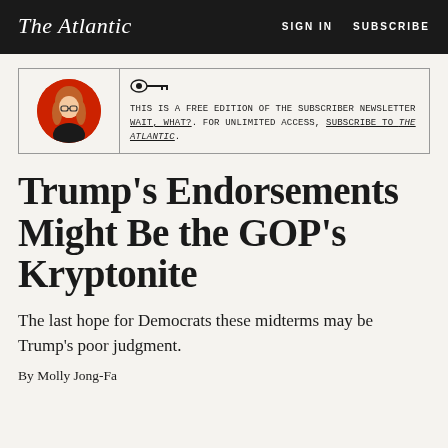The Atlantic | SIGN IN  SUBSCRIBE
THIS IS A FREE EDITION OF THE SUBSCRIBER NEWSLETTER WAIT, WHAT?. FOR UNLIMITED ACCESS, SUBSCRIBE TO THE ATLANTIC.
Trump's Endorsements Might Be the GOP's Kryptonite
The last hope for Democrats these midterms may be Trump's poor judgment.
By Molly Jong-Fast